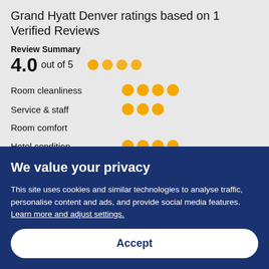Grand Hyatt Denver ratings based on 1 Verified Reviews
Review Summary
4.0 out of 5 ●●●●
Room cleanliness ●●●●
Service & staff ●●●
Room comfort
Hotel condition ●●●●
We value your privacy
This site uses cookies and similar technologies to analyse traffic, personalise content and ads, and provide social media features. Learn more and adjust settings.
Accept